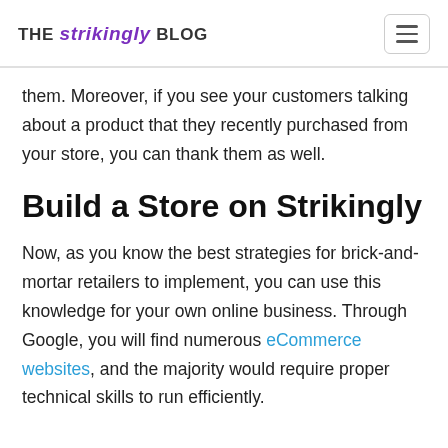THE strikingly BLOG
them. Moreover, if you see your customers talking about a product that they recently purchased from your store, you can thank them as well.
Build a Store on Strikingly
Now, as you know the best strategies for brick-and-mortar retailers to implement, you can use this knowledge for your own online business. Through Google, you will find numerous eCommerce websites, and the majority would require proper technical skills to run efficiently.